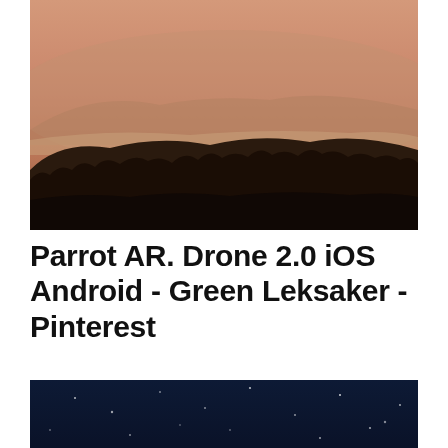[Figure (photo): Misty mountain landscape at dusk/dawn with silhouetted trees in foreground and layered fog over rolling hills, warm orange-brown sky tones]
Parrot AR. Drone 2.0 iOS Android - Green Leksaker - Pinterest
[Figure (photo): Dark night sky with scattered stars, deep navy blue background]